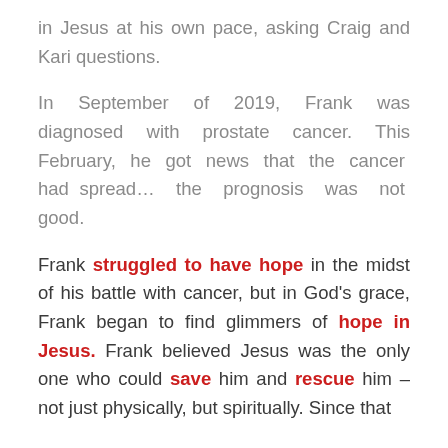in Jesus at his own pace, asking Craig and Kari questions.
In September of 2019, Frank was diagnosed with prostate cancer. This February, he got news that the cancer had spread… the prognosis was not good.
Frank struggled to have hope in the midst of his battle with cancer, but in God’s grace, Frank began to find glimmers of hope in Jesus. Frank believed Jesus was the only one who could save him and rescue him – not just physically, but spiritually. Since that